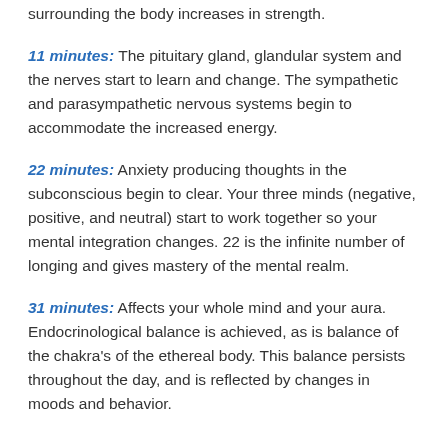surrounding the body increases in strength.
11 minutes: The pituitary gland, glandular system and the nerves start to learn and change. The sympathetic and parasympathetic nervous systems begin to accommodate the increased energy.
22 minutes: Anxiety producing thoughts in the subconscious begin to clear. Your three minds (negative, positive, and neutral) start to work together so your mental integration changes. 22 is the infinite number of longing and gives mastery of the mental realm.
31 minutes: Affects your whole mind and your aura. Endocrinological balance is achieved, as is balance of the chakra’s of the ethereal body. This balance persists throughout the day, and is reflected by changes in moods and behavior.